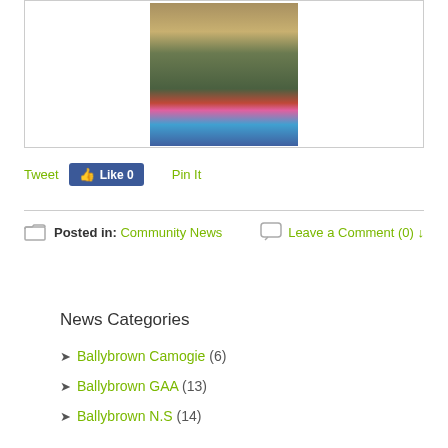[Figure (photo): Partial photo of children outdoors in colourful jackets among foliage, shown in bordered frame]
Tweet  Like 0  Pin It
Posted in: Community News   Leave a Comment (0) ↓
News Categories
Ballybrown Camogie (6)
Ballybrown GAA (13)
Ballybrown N.S (14)